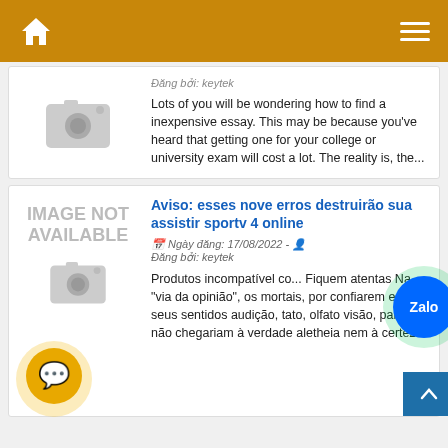[Figure (screenshot): Mobile app top navigation bar with home icon and hamburger menu on gold/amber background]
[Figure (photo): Camera placeholder image icon]
Đăng bởi: keytek
Lots of you will be wondering how to find a inexpensive essay. This may be because you've heard that getting one for your college or university exam will cost a lot. The reality is, the...
[Figure (illustration): IMAGE NOT AVAILABLE placeholder with camera icon]
Aviso: esses nove erros destruirão sua assistir sportv 4 online
Ngày đăng: 17/08/2022 - Đăng bởi: keytek
Produtos incompatível co... Fiquem atentas Na "via da opinião", os mortais, por confiarem em seus sentidos audição, tato, olfato visão, paladar, não chegariam à verdade aletheia nem à certeza